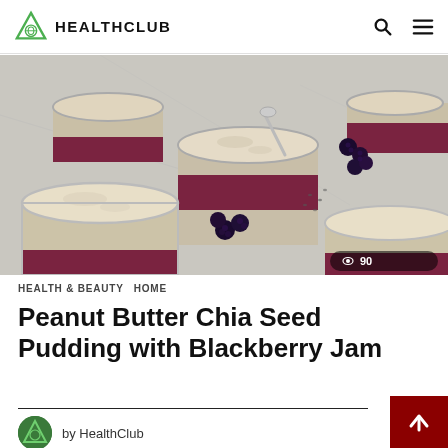HEALTHCLUB
[Figure (photo): Overhead photo of multiple glass jars filled with peanut butter chia seed pudding layered over blackberry jam, with fresh blackberries scattered around on a marble surface. A spoon is visible in one of the open jars. A view counter badge shows '90' in the bottom-right corner.]
HEALTH & BEAUTY   HOME
Peanut Butter Chia Seed Pudding with Blackberry Jam
by HealthClub